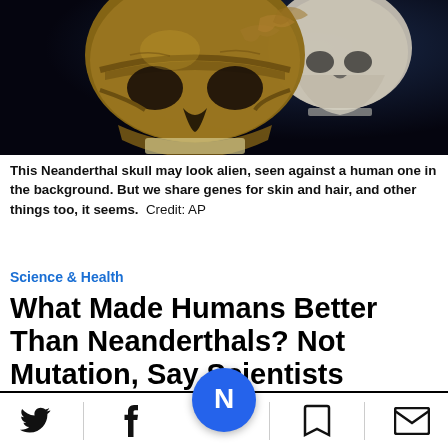[Figure (photo): Two skulls side by side — a Neanderthal skull in the foreground (tan/brown) and a human skull in the background (white), set against a dark blue-black background.]
This Neanderthal skull may look alien, seen against a human one in the background. But we share genes for skin and hair, and other things too, it seems.  Credit: AP
Science & Health
What Made Humans Better Than Neanderthals? Not Mutation, Say Scientists
Our genomes are 99% identical. It's a question of how evolution turn our genes on and off,
[Figure (screenshot): Bottom toolbar with social share icons (Twitter bird, Facebook f), a blue circle with N logo in center, a bookmark icon, and an email envelope icon. Below is an advertisement: Get Up To $110 Off a Set of 4 Select Firestone Tires.]